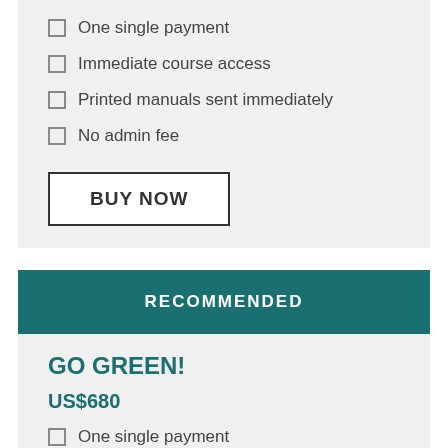One single payment
Immediate course access
Printed manuals sent immediately
No admin fee
BUY NOW
RECOMMENDED
GO GREEN!
US$680
One single payment